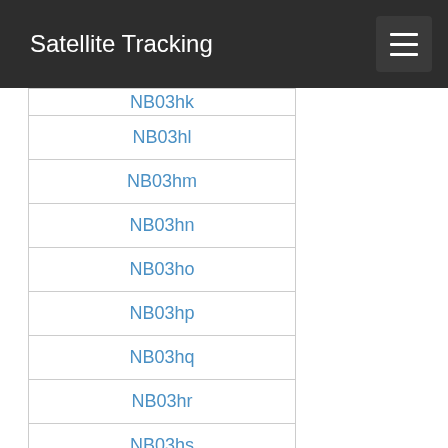Satellite Tracking
NB03hk
NB03hl
NB03hm
NB03hn
NB03ho
NB03hp
NB03hq
NB03hr
NB03hs
NB03ht
NB03hu
NB03hv
NB03hw
NB03hx
NB03ia
NB03ib
NB03ic
NB03id